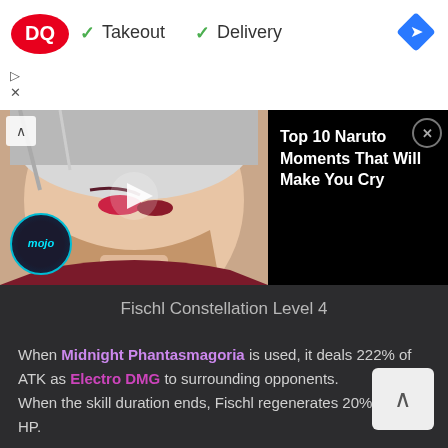[Figure (screenshot): Dairy Queen advertisement banner with DQ logo, checkmarks for Takeout and Delivery, and a blue navigation diamond icon]
[Figure (screenshot): WatchMojo video thumbnail showing anime character from Naruto, with play button and mojo badge overlay. Black panel with title 'Top 10 Naruto Moments That Will Make You Cry' and close X button]
Fischl Constellation Level 4
When Midnight Phantasmagoria is used, it deals 222% of ATK as Electro DMG to surrounding opponents. When the skill duration ends, Fischl regenerates 20% of her HP.